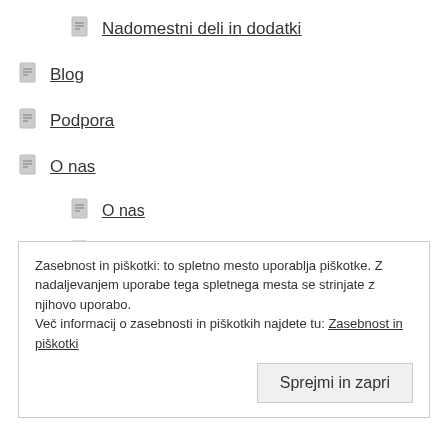Nadomestni deli in dodatki
Blog
Podpora
O nas
O nas
Pogoji poslovanja
🇬🇧
Zasebnost in piškotki: to spletno mesto uporablja piškotke. Z nadaljevanjem uporabe tega spletnega mesta se strinjate z njihovo uporabo. Več informacij o zasebnosti in piškotkih najdete tu: Zasebnost in piškotki
Sprejmi in zapri